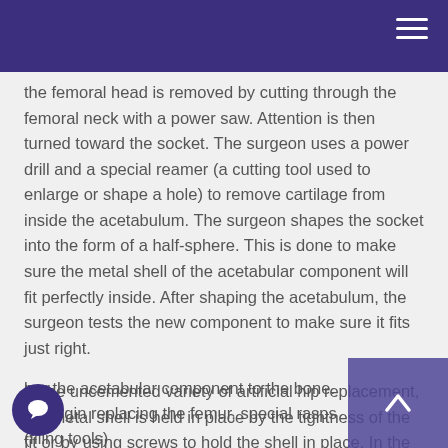the femoral head is removed by cutting through the femoral neck with a power saw. Attention is then turned toward the socket. The surgeon uses a power drill and a special reamer (a cutting tool used to enlarge or shape a hole) to remove cartilage from inside the acetabulum. The surgeon shapes the socket into the form of a half-sphere. This is done to make sure the metal shell of the acetabular component will fit perfectly inside. After shaping the acetabulum, the surgeon tests the new component to make sure it fits just right.
In the uncemented variety of artificial hip replacement, the metal shell is held in place by the tightness of the fit or by using screws to hold the shell in place. In the cemented variety, special epoxy-type cement is used to anchor the acetabular component to the bone.
To begin replacing the femur, special rasps (filing tools)